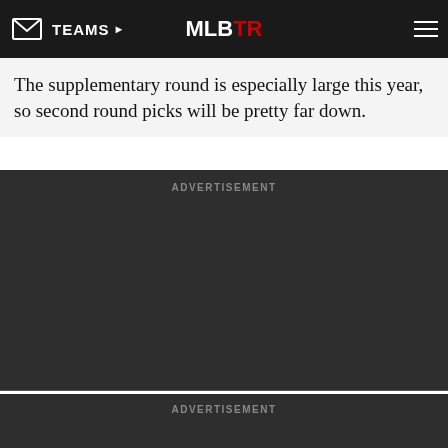TEAMS  MLBTR
The supplementary round is especially large this year, so second round picks will be pretty far down.
ADVERTISEMENT
ADVERTISEMENT